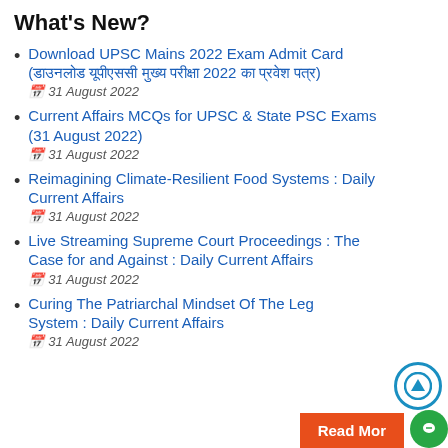What's New?
Download UPSC Mains 2022 Exam Admit Card (डाउनलोड यूपीएससी मुख्य परीक्षा 2022 का प्रवेश पत्र)
📅 31 August 2022
Current Affairs MCQs for UPSC & State PSC Exams (31 August 2022)
📅 31 August 2022
Reimagining Climate-Resilient Food Systems : Daily Current Affairs
📅 31 August 2022
Live Streaming Supreme Court Proceedings : The Case for and Against : Daily Current Affairs
📅 31 August 2022
Curing The Patriarchal Mindset Of The Legal System : Daily Current Affairs
📅 31 August 2022